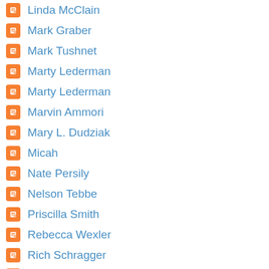Linda McClain
Mark Graber
Mark Tushnet
Marty Lederman
Marty Lederman
Marvin Ammori
Mary L. Dudziak
Micah
Nate Persily
Nelson Tebbe
Priscilla Smith
Rebecca Wexler
Rich Schragger
Richard Primus
Rick Hills
Rick Pildes
Sandy Levinson